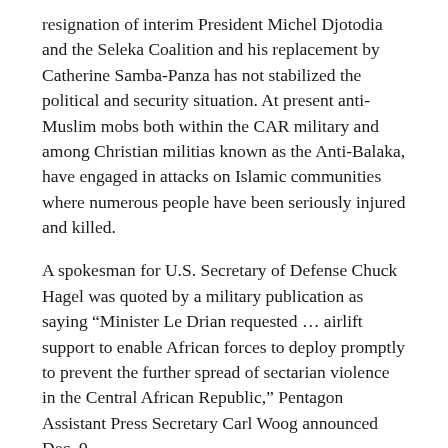resignation of interim President Michel Djotodia and the Seleka Coalition and his replacement by Catherine Samba-Panza has not stabilized the political and security situation. At present anti-Muslim mobs both within the CAR military and among Christian militias known as the Anti-Balaka, have engaged in attacks on Islamic communities where numerous people have been seriously injured and killed.
A spokesman for U.S. Secretary of Defense Chuck Hagel was quoted by a military publication as saying “Minister Le Drian requested … airlift support to enable African forces to deploy promptly to prevent the further spread of sectarian violence in the Central African Republic,” Pentagon Assistant Press Secretary Carl Woog announced Dec. 9.
“The United States is joining the international community in this effort because of our belief that immediate action is required to avert a humanitarian and human rights catastrophe in the Central African Republic, and because of our interest in peace and security in the region.” (Stars and Stripes, Jan. 22)